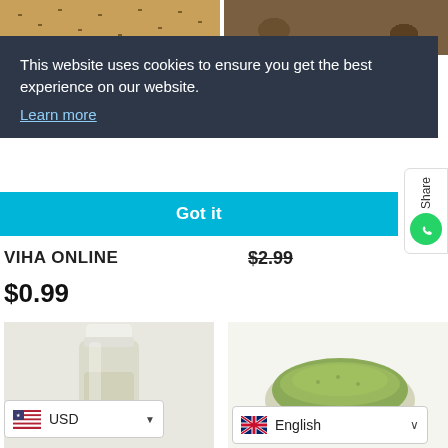[Figure (photo): Top row product images: seeds/flaxseeds on left, rocky minerals on right]
This website uses cookies to ensure you get the best experience on our website. Learn more
Got it
VIHA ONLINE
$2.99
$0.99
[Figure (photo): Bottom left: clear plastic bottle with white cap]
[Figure (photo): Bottom right: green powder in a bowl with Viha logo]
USD
English